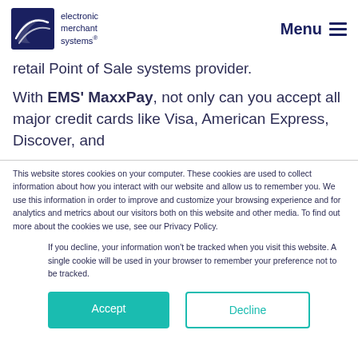[Figure (logo): Electronic Merchant Systems logo — dark navy card shape with white swoosh graphic, text 'electronic merchant systems®']
retail Point of Sale systems provider.
With EMS' MaxxPay, not only can you accept all major credit cards like Visa, American Express, Discover, and
This website stores cookies on your computer. These cookies are used to collect information about how you interact with our website and allow us to remember you. We use this information in order to improve and customize your browsing experience and for analytics and metrics about our visitors both on this website and other media. To find out more about the cookies we use, see our Privacy Policy.
If you decline, your information won't be tracked when you visit this website. A single cookie will be used in your browser to remember your preference not to be tracked.
Accept
Decline